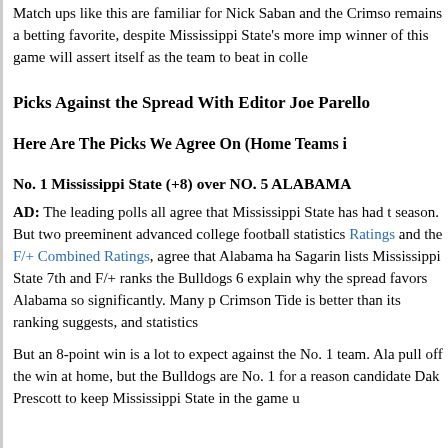Match ups like this are familiar for Nick Saban and the Crimson Tide. Alabama remains a betting favorite, despite Mississippi State's more impressive ranking. The winner of this game will assert itself as the team to beat in college football.
Picks Against the Spread With Editor Joe Parello
Here Are The Picks We Agree On (Home Teams i…
No. 1 Mississippi State (+8) over NO. 5 ALABAMA
AD: The leading polls all agree that Mississippi State has had the best season. But two preeminent advanced college football statistics—Sagarin Ratings and the F/+ Combined Ratings, agree that Alabama ha… Sagarin lists Mississippi State 7th and F/+ ranks the Bulldogs 6… explain why the spread favors Alabama so significantly. Many p… Crimson Tide is better than its ranking suggests, and statistics …
But an 8-point win is a lot to expect against the No. 1 team. Ala… pull off the win at home, but the Bulldogs are No. 1 for a reason… candidate Dak Prescott to keep Mississippi State in the game u…